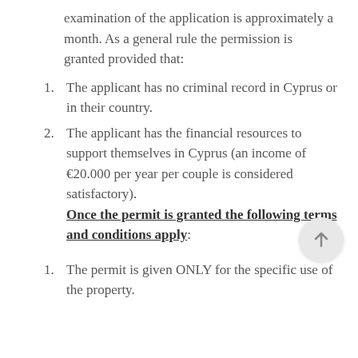examination of the application is approximately a month. As a general rule the permission is granted provided that:
The applicant has no criminal record in Cyprus or in their country.
The applicant has the financial resources to support themselves in Cyprus (an income of €20.000 per year per couple is considered satisfactory). Once the permit is granted the following terms and conditions apply:
The permit is given ONLY for the specific use of the property.